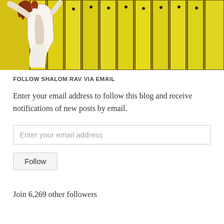[Figure (illustration): Artistic painting of a person in white clothing standing in front of tall yellow/green painted fence boards or panels, with brown/rust hair, in a sketchy painterly style]
FOLLOW SHALOM RAV VIA EMAIL
Enter your email address to follow this blog and receive notifications of new posts by email.
Enter your email address
Follow
Join 6,269 other followers